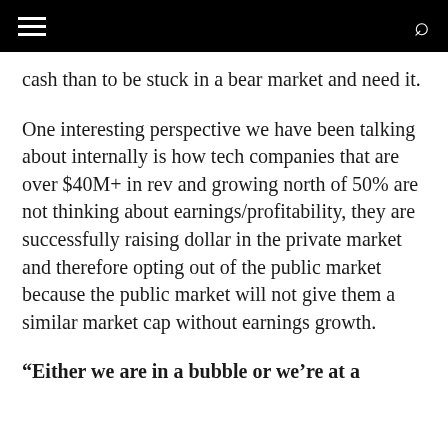cash than to be stuck in a bear market and need it.
One interesting perspective we have been talking about internally is how tech companies that are over $40M+ in rev and growing north of 50% are not thinking about earnings/profitability, they are successfully raising dollar in the private market and therefore opting out of the public market because the public market will not give them a similar market cap without earnings growth.
“Either we are in a bubble or we’re at a